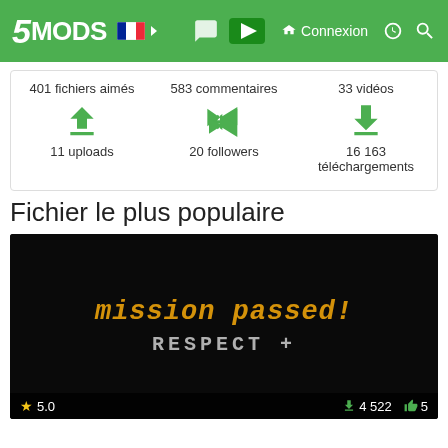5MODS — Connexion
401 fichiers aimés   583 commentaires   33 vidéos
11 uploads   20 followers   16 163 téléchargements
Fichier le plus populaire
[Figure (screenshot): Game screenshot showing 'mission passed! RESPECT +' text on black background with rating 5.0, 4 522 downloads, 5 likes]
★ 5.0   ↓ 4 522   👍 5